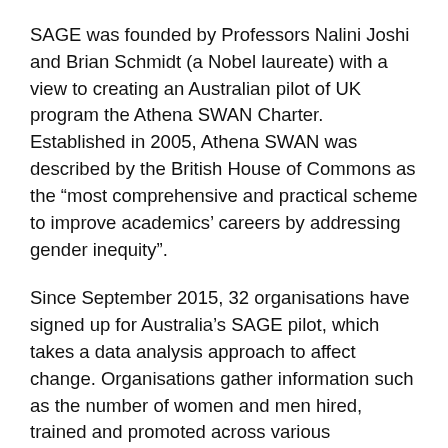SAGE was founded by Professors Nalini Joshi and Brian Schmidt (a Nobel laureate) with a view to creating an Australian pilot of UK program the Athena SWAN Charter. Established in 2005, Athena SWAN was described by the British House of Commons as the “most comprehensive and practical scheme to improve academics’ careers by addressing gender inequity”.
Since September 2015, 32 organisations have signed up for Australia’s SAGE pilot, which takes a data analysis approach to affect change. Organisations gather information such as the number of women and men hired, trained and promoted across various employment categories. They then analyse these figures to uncover any underlying gender inequality issues, explains Dr Susan Pond, a SAGE program leader and adjunct professor in engineering and information technologies at the University of Sydney. Finally, participating organisations develop a sustainable four-year action plan to resolve the diversity